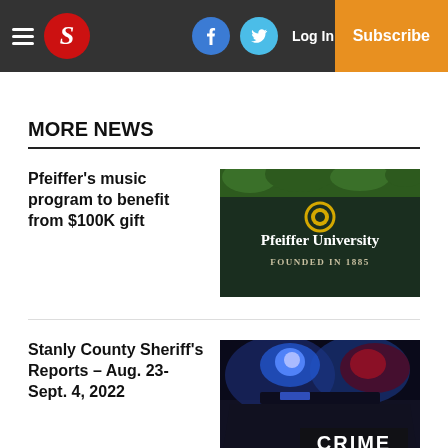S | Log In | Subscribe
MORE NEWS
Pfeiffer's music program to benefit from $100K gift
[Figure (photo): Pfeiffer University sign reading 'Pfeiffer University Founded In 1885' with yellow emblem on dark background]
Stanly County Sheriff's Reports – Aug. 23-Sept. 4, 2022
[Figure (photo): Police car with blue flashing lights at night with 'CRIME' text overlay in white bold letters]